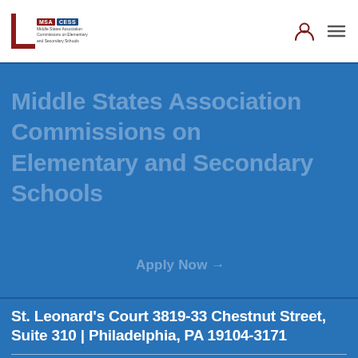Middle States Association Commissions on Elementary and Secondary Schools
Middle States Association Commissions on Elementary and Secondary Schools
Apply Now
St. Leonard's Court 3819-33 Chestnut Street, Suite 310 | Philadelphia, PA 19104-3171